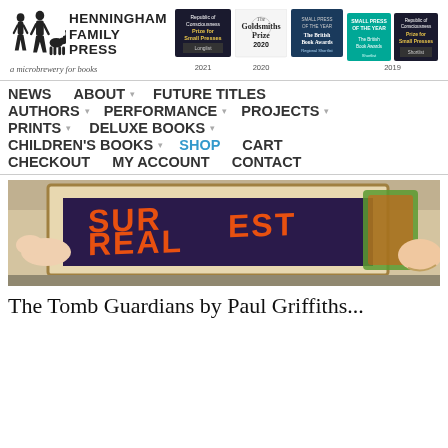[Figure (logo): Henningham Family Press logo with silhouette figures and text, tagline 'a microbrewery for books']
[Figure (illustration): Award badges: Republic of Consciousness Prize for Small Presses 2021 Longlist, Goldsmiths Prize 2020, The British Book Awards Regional Shortlist, Small Press of the Year shortlist 2019, Republic of Consciousness Prize for Small Presses shortlist 2019]
NEWS  ABOUT  FUTURE TITLES  AUTHORS  PERFORMANCE  PROJECTS  PRINTS  DELUXE BOOKS  CHILDREN'S BOOKS  SHOP  CART  CHECKOUT  MY ACCOUNT  CONTACT
[Figure (photo): Screen printing process photo showing orange text 'SUR REAL EST' being printed through a screen on a surface]
The Tomb Guardians by Paul Griffiths...